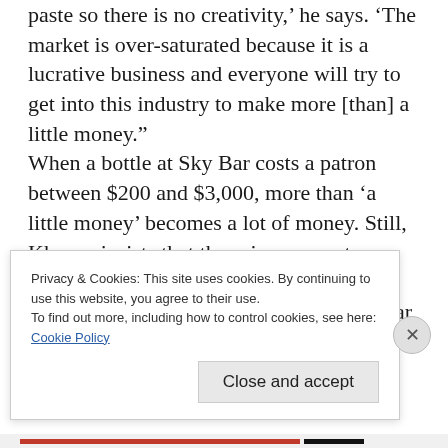paste so there is no creativity,' he says. 'The market is over-saturated because it is a lucrative business and everyone will try to get into this industry to make more [than] a little money.'"
When a bottle at Sky Bar costs a patron between $200 and $3,000, more than 'a little money' becomes a lot of money. Still, Khazen insists that the prices are not unreasonable given the costs he has to cover, which include "over $750,000 a year on fireworks and
Privacy & Cookies: This site uses cookies. By continuing to use this website, you agree to their use.
To find out more, including how to control cookies, see here:
Cookie Policy
Close and accept